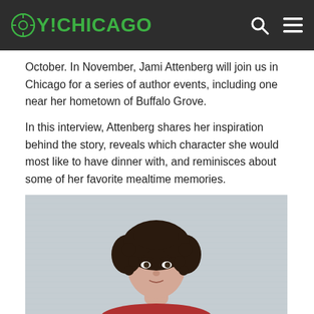OY!CHICAGO
October. In November, Jami Attenberg will join us in Chicago for a series of author events, including one near her hometown of Buffalo Grove.
In this interview, Attenberg shares her inspiration behind the story, reveals which character she would most like to have dinner with, and reminisces about some of her favorite mealtime memories.
[Figure (photo): Portrait photo of a woman with short curly dark hair wearing a red top, standing in front of a light gray textured wall background.]